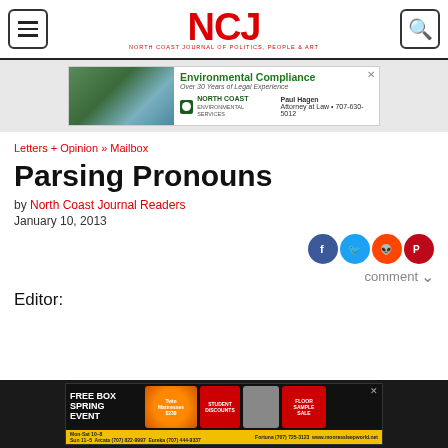NCJ — North Coast Journal of Politics, People & Art
[Figure (other): Advertisement: Environmental Compliance, Over 30 Years of Legal Experience, North Coast Environmental Services, Paul Hagen Attorney at Law 707-630-5012]
Letters + Opinion » Mailbox
Parsing Pronouns
by North Coast Journal Readers
January 10, 2013
Editor:
[Figure (other): Advertisement: Free Box Spring Event, Twin Mattresses $239, Student Discounts, Floor Sample Sale, Moore's Sleep World]